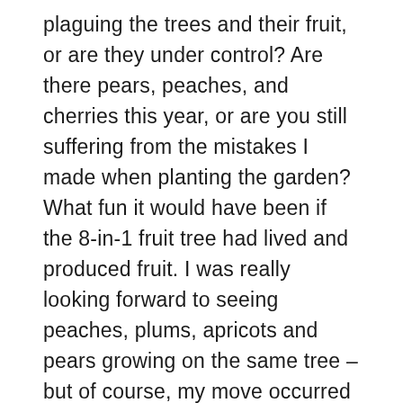plaguing the trees and their fruit, or are they under control? Are there pears, peaches, and cherries this year, or are you still suffering from the mistakes I made when planting the garden? What fun it would have been if the 8-in-1 fruit tree had lived and produced fruit. I was really looking forward to seeing peaches, plums, apricots and pears growing on the same tree – but of course, my move occurred before the tree would have been old enough to produce fruit. Is the catbird still hanging around the old apple tree? He seemed to enjoy that spot more than anywhere else in the gardens, perhaps because he could oversee a larger area. The berries must be having their normal, productive yields. Do the children gobble them down, or do they